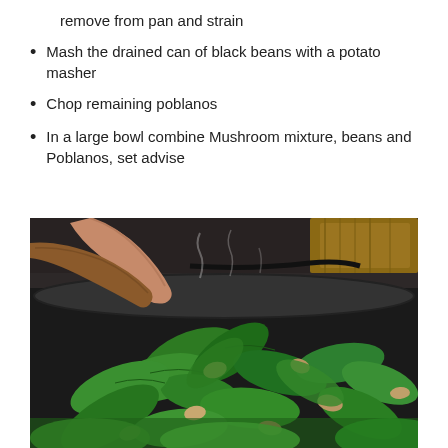remove from pan and strain
Mash the drained can of black beans with a potato masher
Chop remaining poblanos
In a large bowl combine Mushroom mixture, beans and Poblanos, set advise
[Figure (photo): A wooden spoon or spatula stirring green vegetables (poblanos/greens) and mushrooms in a large dark skillet over a stovetop, with steam rising.]